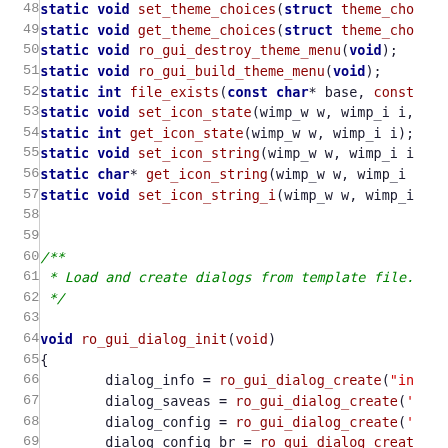[Figure (screenshot): Source code listing in C, lines 48-77, showing static function declarations and the ro_gui_dialog_init function body with syntax highlighting. Dark red for keywords and function names, red for string arguments, green italic for comments, black for operators and punctuation.]